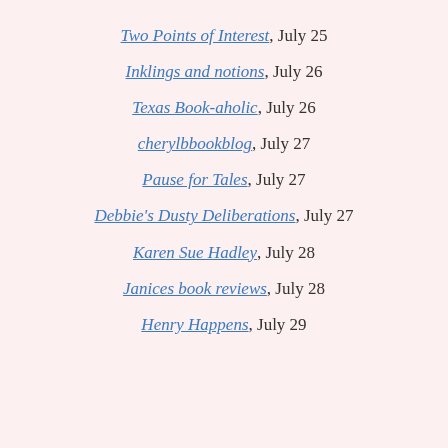Two Points of Interest, July 25
Inklings and notions, July 26
Texas Book-aholic, July 26
cherylbbookblog, July 27
Pause for Tales, July 27
Debbie's Dusty Deliberations, July 27
Karen Sue Hadley, July 28
Janices book reviews, July 28
Henry Happens, July 29